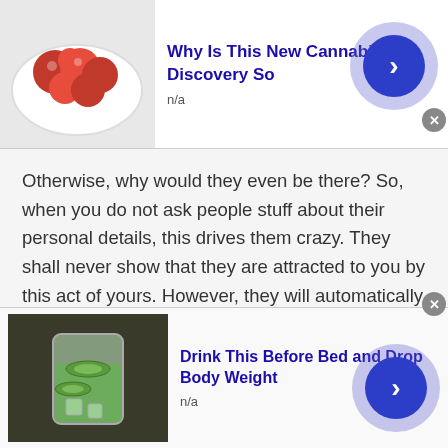[Figure (infographic): Top advertisement banner showing a bowl of red berries/raspberries image with title 'Why Is This New Cannabis Discovery So' and 'n/a' label, with a blue circular arrow button on the right]
Otherwise, why would they even be there? So, when you do not ask people stuff about their personal details, this drives them crazy. They shall never show that they are attracted to you by this act of yours. However, they will automatically ask for your details. Then it should be easy to swap contacts with them.
6. Ask for an opinion:
[Figure (infographic): Bottom advertisement banner showing a glass with green drink/cucumber water image with title 'Drink This Before Bed and Drop Body Weight' and 'n/a' label, with a blue circular arrow button on the right]